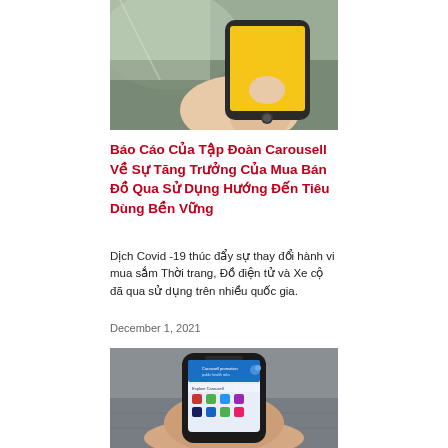[Figure (photo): Hand holding a smartphone with a yellow/orange screen, taken from above on a grey surface]
Báo Cáo Của Tập Đoàn Carousell Về Sự Tăng Trưởng Của Mua Bán Đồ Qua Sử Dụng Hướng Đến Tiêu Dùng Bền Vững
Dịch Covid -19 thúc đẩy sự thay đổi hành vi mua sắm Thời trang, Đồ điện tử và Xe cộ đã qua sử dụng trên nhiều quốc gia.
December 1, 2021
[Figure (photo): Hand holding a smartphone displaying the Carousell app with a blue promotional banner and product category icons]